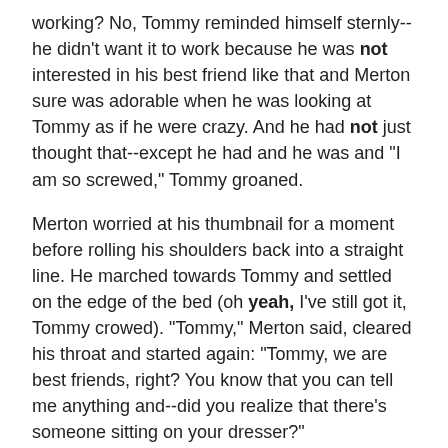working? No, Tommy reminded himself sternly--he didn't want it to work because he was not interested in his best friend like that and Merton sure was adorable when he was looking at Tommy as if he were crazy. And he had not just thought that--except he had and he was and "I am so screwed," Tommy groaned.
Merton worried at his thumbnail for a moment before rolling his shoulders back into a straight line. He marched towards Tommy and settled on the edge of the bed (oh yeah, I've still got it, Tommy crowed). "Tommy," Merton said, cleared his throat and started again: "Tommy, we are best friends, right? You know that you can tell me anything and--did you realize that there's someone sitting on your dresser?"
Tommy blinked. "What?"
"A person, Tommy: say, five foot, purple suit, big